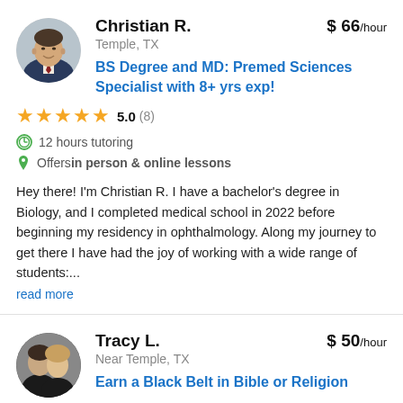Christian R.
$ 66/hour
Temple, TX
BS Degree and MD: Premed Sciences Specialist with 8+ yrs exp!
5.0 (8)
12 hours tutoring
Offers in person & online lessons
Hey there! I'm Christian R. I have a bachelor's degree in Biology, and I completed medical school in 2022 before beginning my residency in ophthalmology. Along my journey to get there I have had the joy of working with a wide range of students:...
read more
Tracy L.
$ 50/hour
Near Temple, TX
Earn a Black Belt in Bible or Religion